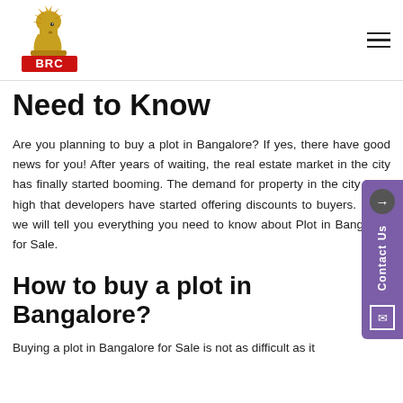[Figure (logo): BRC - Bangalore Realestate Company logo with golden chess horse and red rectangular brand block]
Need to Know
Are you planning to buy a plot in Bangalore? If yes, there have good news for you! After years of waiting, the real estate market in the city has finally started booming. The demand for property in the city is so high that developers have started offering discounts to buyers. Here, we will tell you everything you need to know about Plot in Bangalore for Sale.
How to buy a plot in Bangalore?
Buying a plot in Bangalore for Sale is not as difficult as it